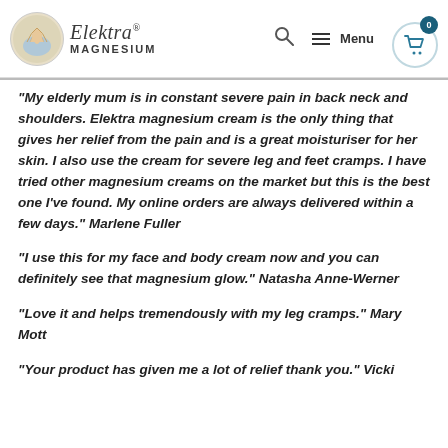Elektra Magnesium — navigation header with logo, search, menu, and cart
“My elderly mum is in constant severe pain in back neck and shoulders. Elektra magnesium cream is the only thing that gives her relief from the pain and is a great moisturiser for her skin. I also use the cream for severe leg and feet cramps. I have tried other magnesium creams on the market but this is the best one I’ve found. My online orders are always delivered within a few days.” Marlene Fuller
“I use this for my face and body cream now and you can definitely see that magnesium glow.” Natasha Anne-Werner
“Love it and helps tremendously with my leg cramps.” Mary Mott
“Your product has given me a lot of relief thank you.” Vicki